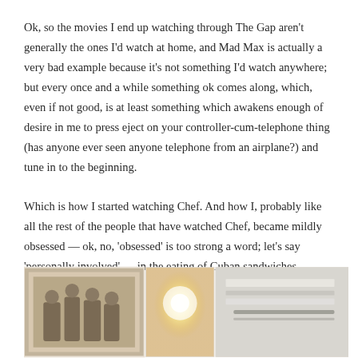Ok, so the movies I end up watching through The Gap aren't generally the ones I'd watch at home, and Mad Max is actually a very bad example because it's not something I'd watch anywhere; but every once and a while something ok comes along, which, even if not good, is at least something which awakens enough of desire in me to press eject on your controller-cum-telephone thing (has anyone ever seen anyone telephone from an airplane?) and tune in to the beginning.
Which is how I started watching Chef. And how I, probably like all the rest of the people that have watched Chef, became mildly obsessed — ok, no, 'obsessed' is too strong a word; let's say 'personally involved' — in the eating of Cuban sandwiches.
[Figure (photo): A horizontal strip of three photographs: a sepia-toned framed photo of a group of people, a warm-toned soft-focus photo with a bright bokeh light, and an interior ceiling/architectural photo.]